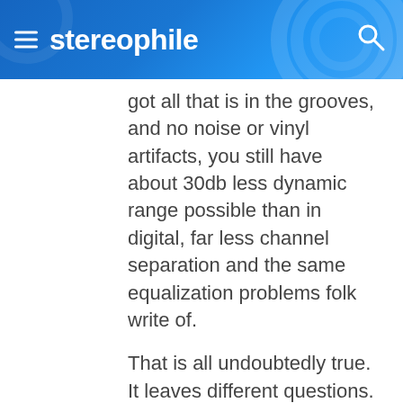stereophile
got all that is in the grooves, and no noise or vinyl artifacts, you still have about 30db less dynamic range possible than in digital, far less channel separation and the same equalization problems folk write of.
That is all undoubtedly true. It leaves different questions. Does good vinly produce better sound in the areas it does accurately reproduce than